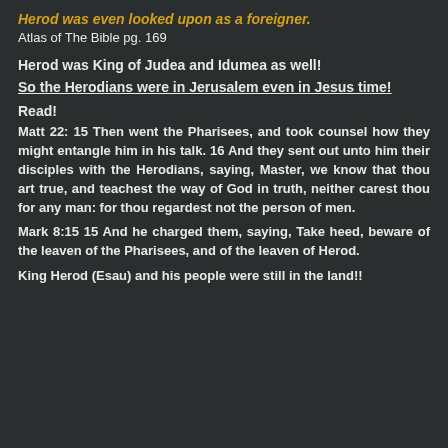Herod was even looked upon as a foreigner.
Atlas of The Bible pg. 169
Herod was King of Judea and Idumea as well!
So the Herodians were in Jerusalem even in Jesus time!
Read!
Matt 22: 15 Then went the Pharisees, and took counsel how they might entangle him in his talk. 16 And they sent out unto him their disciples with the Herodians, saying, Master, we know that thou art true, and teachest the way of God in truth, neither carest thou for any man: for thou regardest not the person of men.
Mark 8:15 15 And he charged them, saying, Take heed, beware of the leaven of the Pharisees, and of the leaven of Herod.
King Herod (Esau) and his people were still in the land!!